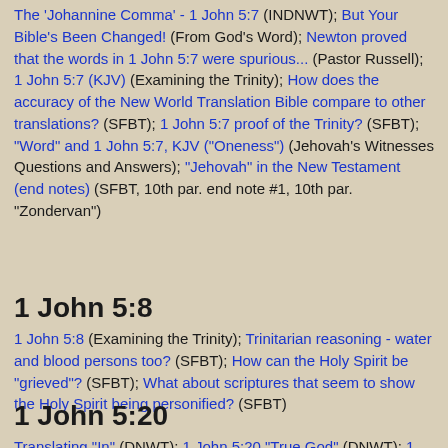The 'Johannine Comma' - 1 John 5:7 (INDNWT);   But Your Bible's Been Changed! (From God's Word);   Newton proved that the words in 1 John 5:7 were spurious... (Pastor Russell);   1 John 5:7 (KJV) (Examining the Trinity);   How does the accuracy of the New World Translation Bible compare to other translations? (SFBT);   1 John 5:7 proof of the Trinity? (SFBT);   "Word" and 1 John 5:7, KJV ("Oneness") (Jehovah's Witnesses Questions and Answers);   "Jehovah" in the New Testament (end notes) (SFBT, 10th par. end note #1, 10th par. "Zondervan")
1 John 5:8
1 John 5:8 (Examining the Trinity);   Trinitarian reasoning - water and blood persons too? (SFBT);   How can the Holy Spirit be "grieved"? (SFBT);   What about scriptures that seem to show the Holy Spirit being personified? (SFBT)
1 John 5:20
Translating "In" (DNWT);   1 John 5:20 "True God" (DNWT);   1 John 5:20 "He meant is the true...'